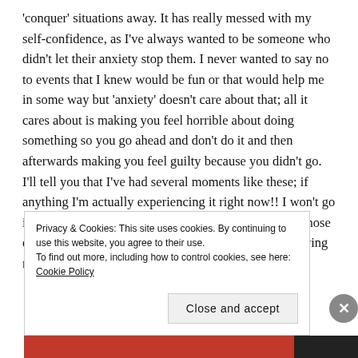'conquer' situations away. It has really messed with my self-confidence, as I've always wanted to be someone who didn't let their anxiety stop them. I never wanted to say no to events that I knew would be fun or that would help me in some way but 'anxiety' doesn't care about that; all it cares about is making you feel horrible about doing something so you go ahead and don't do it and then  afterwards making you feel guilty because you didn't go. I'll tell you that I've had several moments like these; if anything I'm actually experiencing it right now!! I won't go into what the situation is but let's just say I'm feeling those emotions especially because like I said, I don't like saying no to situations when I
Privacy & Cookies: This site uses cookies. By continuing to use this website, you agree to their use. To find out more, including how to control cookies, see here: Cookie Policy
Close and accept